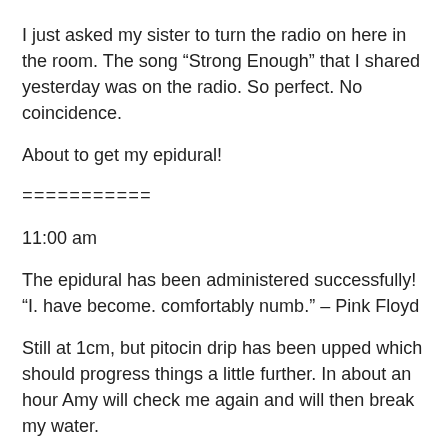I just asked my sister to turn the radio on here in the room. The song “Strong Enough” that I shared yesterday was on the radio. So perfect. No coincidence.
About to get my epidural!
===========
11:00 am
The epidural has been administered successfully! “I. have become. comfortably numb.” – Pink Floyd
Still at 1cm, but pitocin drip has been upped which should progress things a little further. In about an hour Amy will check me again and will then break my water.
Surrounded by my beloved friends and family, heavenly